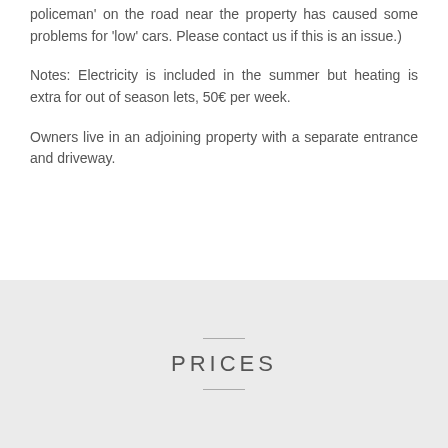Parking places within the property. (A new 'sleeping policeman' on the road near the property has caused some problems for 'low' cars. Please contact us if this is an issue.)
Notes: Electricity is included in the summer but heating is extra for out of season lets, 50€ per week.
Owners live in an adjoining property with a separate entrance and driveway.
PRICES